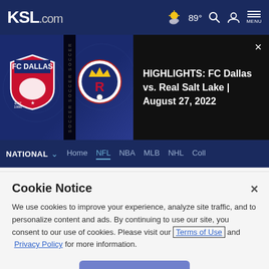KSL.com — 89° MENU navigation header
[Figure (screenshot): Video thumbnail: FC Dallas vs Real Salt Lake highlights banner. Shows FC Dallas shield badge on left, Real Salt Lake R badge on right, with 'SOCCER' text strip in middle, on dark blue background. Right side shows black background with white text: HIGHLIGHTS: FC Dallas vs. Real Salt Lake | August 27, 2022]
HIGHLIGHTS: FC Dallas vs. Real Salt Lake | August 27, 2022
NATIONAL  Home  NFL  NBA  MLB  NHL  Coll
Police: Ex-Jaguars LB pointed gun.
Cookie Notice
We use cookies to improve your experience, analyze site traffic, and to personalize content and ads. By continuing to use our site, you consent to our use of cookies. Please visit our Terms of Use and  Privacy Policy for more information.
Continue